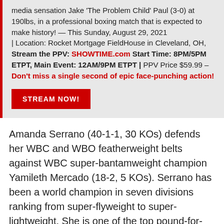media sensation Jake 'The Problem Child' Paul (3-0) at 190lbs, in a professional boxing match that is expected to make history! — This Sunday, August 29, 2021 | Location: Rocket Mortgage FieldHouse in Cleveland, OH, Stream the PPV: SHOWTIME.com Start Time: 8PM/5PM ETPT, Main Event: 12AM/9PM ETPT | PPV Price $59.99 – Don't miss a single second of epic face-punching action!
STREAM NOW!
Amanda Serrano (40-1-1, 30 KOs) defends her WBC and WBO featherweight belts against WBC super-bantamweight champion Yamileth Mercado (18-2, 5 KOs). Serrano has been a world champion in seven divisions ranking from super-flyweight to super-lightweight. She is one of the top pound-for-pound